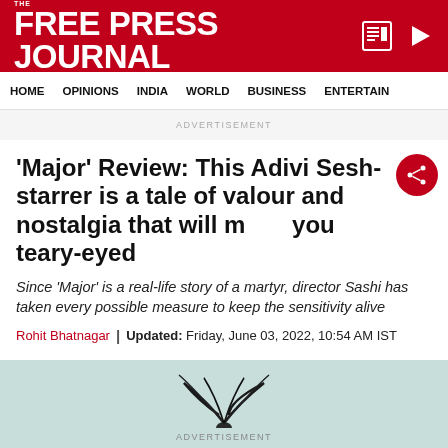THE FREE PRESS JOURNAL
HOME | OPINIONS | INDIA | WORLD | BUSINESS | ENTERTAIN
ADVERTISEMENT
'Major' Review: This Adivi Sesh-starrer is a tale of valour and nostalgia that will make you teary-eyed
Since 'Major' is a real-life story of a martyr, director Sashi has taken every possible measure to keep the sensitivity alive
Rohit Bhatnagar | Updated: Friday, June 03, 2022, 10:54 AM IST
[Figure (photo): Advertisement banner with light teal background, partially visible plant/feather graphic]
ADVERTISEMENT